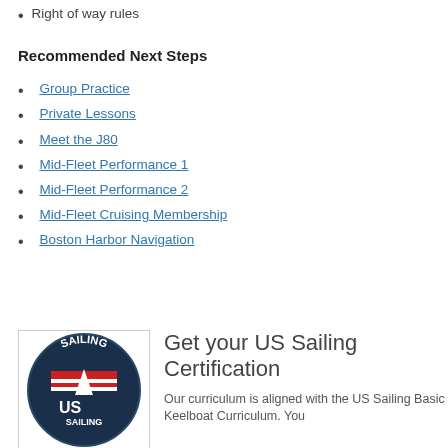Right of way rules
Recommended Next Steps
Group Practice
Private Lessons
Meet the J80
Mid-Fleet Performance 1
Mid-Fleet Performance 2
Mid-Fleet Cruising Membership
Boston Harbor Navigation
[Figure (logo): US Sailing circular logo with dark navy background, SAILING text at top, red and white horizontal stripes, US SAILING text at bottom]
Get your US Sailing Certification
Our curriculum is aligned with the US Sailing Basic Keelboat Curriculum. You